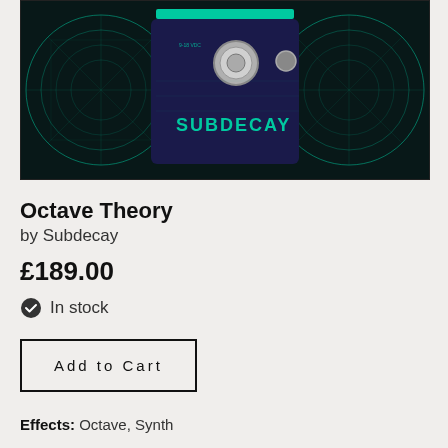[Figure (photo): A Subdecay Octave Theory guitar effects pedal (dark blue/navy enclosure with teal 'SUBDECAY' branding) photographed against a dark background with glowing teal circular geometric patterns.]
Octave Theory
by Subdecay
£189.00
In stock
Add to Cart
Effects: Octave, Synth